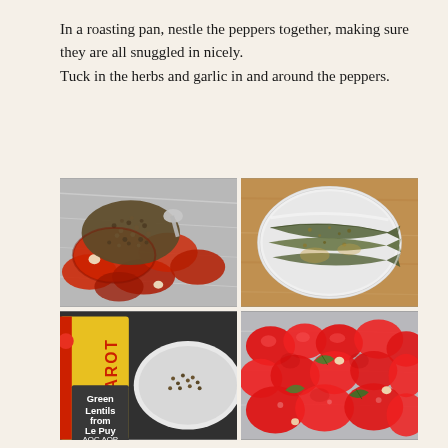In a roasting pan, nestle the peppers together, making sure they are all snuggled in nicely. Tuck in the herbs and garlic in and around the peppers.
[Figure (photo): Roasted red peppers with lentils on aluminum foil in a roasting pan]
[Figure (photo): Sardines or anchovies in a white bowl with herbs and seasoning]
[Figure (photo): SABAROT brand Green Lentils from Le Puy AOC AOP package next to a bowl]
[Figure (photo): Raw red peppers with herbs and garlic nestled together in a roasting pan]